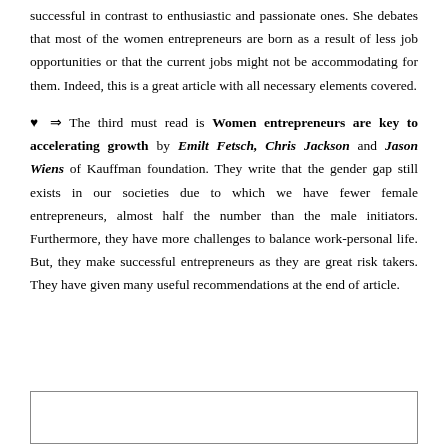successful in contrast to enthusiastic and passionate ones. She debates that most of the women entrepreneurs are born as a result of less job opportunities or that the current jobs might not be accommodating for them. Indeed, this is a great article with all necessary elements covered.
♥ ⇒ The third must read is Women entrepreneurs are key to accelerating growth by Emilt Fetsch, Chris Jackson and Jason Wiens of Kauffman foundation. They write that the gender gap still exists in our societies due to which we have fewer female entrepreneurs, almost half the number than the male initiators. Furthermore, they have more challenges to balance work-personal life. But, they make successful entrepreneurs as they are great risk takers. They have given many useful recommendations at the end of article.
[Figure (other): Empty bordered box at the bottom of the page]